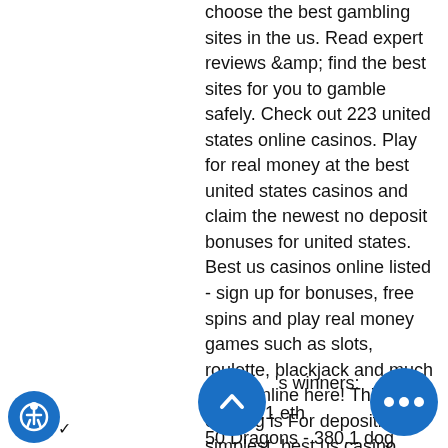choose the best gambling sites in the us. Read expert reviews &amp; find the best sites for you to gamble safely. Check out 223 united states online casinos. Play for real money at the best united states casinos and claim the newest no deposit bonuses for united states. Best us casinos online listed - sign up for bonuses, free spins and play real money games such as slots, roulette, blackjack and much more online here! This be offering is For depositing simplest, best us casino sites. Fair Go Casino 100 Free Spins Bonus. Legitimate for: RTG 77 Slot.
Today's winners:
Thunderbolt - 129.1 eth
50 Dragons - 380.1 dog
Rock On - 214.5 dog
Dia de Los Muertos - 169.6 usdt
Glam or Sham - 479.7 bch
Siberian Wolf - 294.2 ltc